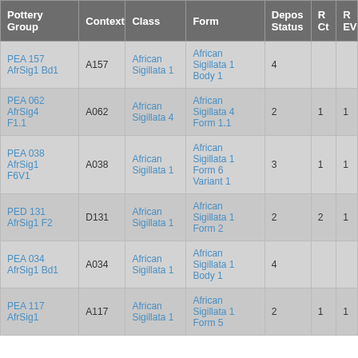| Pottery Group | Context | Class | Form | Depos Status | R Ct | R EV |
| --- | --- | --- | --- | --- | --- | --- |
| PEA 157 AfrSig1 Bd1 | A157 | African Sigillata 1 | African Sigillata 1 Body 1 | 4 |  |  |
| PEA 062 AfrSig4 F1.1 | A062 | African Sigillata 4 | African Sigillata 4 Form 1.1 | 2 | 1 | 1 |
| PEA 038 AfrSig1 F6V1 | A038 | African Sigillata 1 | African Sigillata 1 Form 6 Variant 1 | 3 | 1 | 1 |
| PED 131 AfrSig1 F2 | D131 | African Sigillata 1 | African Sigillata 1 Form 2 | 2 | 2 | 1 |
| PEA 034 AfrSig1 Bd1 | A034 | African Sigillata 1 | African Sigillata 1 Body 1 | 4 |  |  |
| PEA 117 AfrSig1 | A117 | African Sigillata 1 | African Sigillata 1 Form 5 | 2 | 1 | 1 |